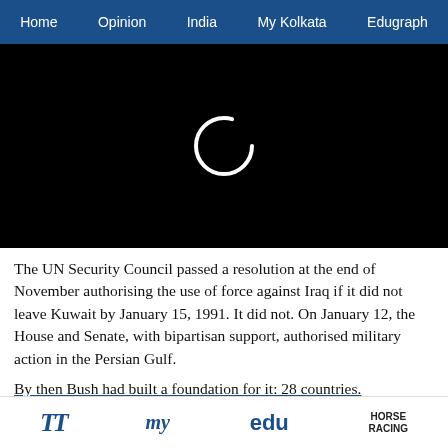Home  Opinion  India  My Kolkata  Edugraph
[Figure (screenshot): Black video player area with a white loading spinner circle in the center]
The UN Security Council passed a resolution at the end of November authorising the use of force against Iraq if it did not leave Kuwait by January 15, 1991. It did not. On January 12, the House and Senate, with bipartisan support, authorised military action in the Persian Gulf.
By then Bush had built a foundation for it: 28 countries.
TT  my  edu  HORSE RACING